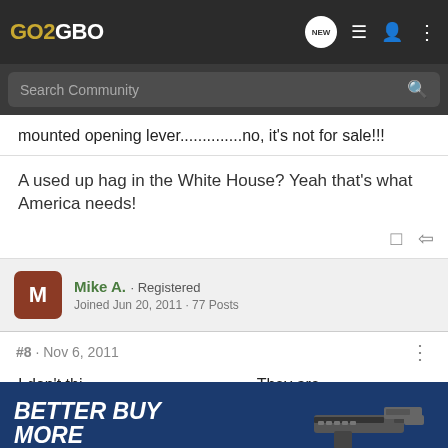GO2GBO
mounted opening lever..............no, it's not for sale!!!
A used up hag in the White House? Yeah that's what America needs!
Mike A. · Registered
Joined Jun 20, 2011 · 77 Posts
#8 · Nov 6, 2011
I don't thi... They are hard... not to sell the... ey were
[Figure (screenshot): Ad banner: BETTER BUY MORE with image of a gun on blue background]